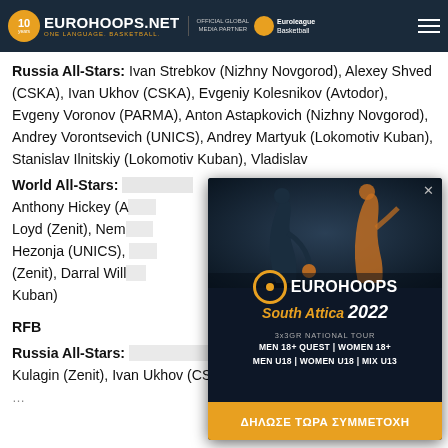EUROHOOPS.NET – ONE LANGUAGE. BASKETBALL. | OFFICIAL GLOBAL MEDIA PARTNER Euroleague Basketball
Russia All-Stars: Ivan Strebkov (Nizhny Novgorod), Alexey Shved (CSKA), Ivan Ukhov (CSKA), Evgeniy Kolesnikov (Avtodor), Evgeny Voronov (PARMA), Anton Astapkovich (Nizhny Novgorod), Andrey Vorontsevich (UNICS), Andrey Martyuk (Lokomotiv Kuban), Stanislav Ilnitskiy (Lokomotiv Kuban), Vladislav…
World All-Stars: … Anthony Hickey (A…), Loyd (Zenit), Nem…, Hezonja (UNICS), … (Zenit), Darral Will… Kuban)
RFB
Russia All-Stars: … Kulagin (Zenit), Ivan Ukhov (CSKA), Artem Komolov …
[Figure (photo): Eurohoops South Attica 2022 advertisement overlay showing two basketball players silhouetted against a dark background, with Eurohoops logo, 'South Attica 2022', '3x3GR NATIONAL TOUR', categories MEN 18+ QUEST | WOMEN 18+, MEN U18 | WOMEN U18 | MIX U13, and CTA button ΔΗΛΩΣΕ ΤΩΡΑ ΣΥΜΜΕΤΟΧΗ]